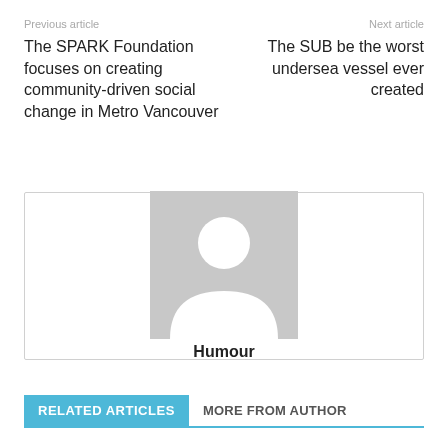Previous article
Next article
The SPARK Foundation focuses on creating community-driven social change in Metro Vancouver
The SUB be the worst undersea vessel ever created
[Figure (illustration): Default avatar placeholder image — grey square with a white silhouette of a person]
Humour
RELATED ARTICLES
MORE FROM AUTHOR